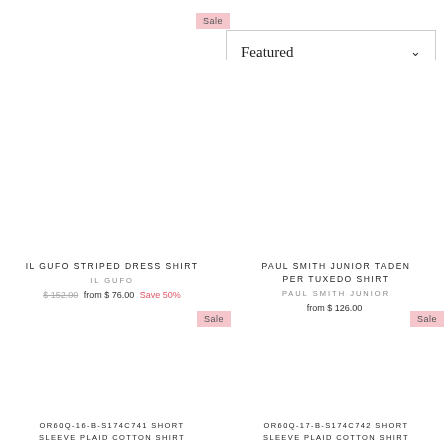[Figure (screenshot): Sale badge (pink) top area]
[Figure (screenshot): Featured dropdown selector with chevron]
IL GUFO STRIPED DRESS SHIRT
IL GUFO
$152.00 from $76.00 Save 50%
PAUL SMITH JUNIOR TADEN PER TUXEDO SHIRT
PAUL SMITH JUNIOR
from $126.00
[Figure (screenshot): Sale badge (pink) second row left]
[Figure (screenshot): Sale badge (pink) second row right]
OR60Q-16-B-S174C741 SHORT SLEEVE PLAID COTTON SHIRT
OR60Q-17-B-S174C742 SHORT SLEEVE PLAID COTTON SHIRT